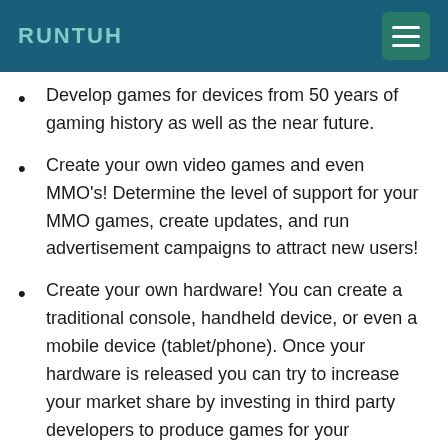RUNTUH
Develop games for devices from 50 years of gaming history as well as the near future.
Create your own video games and even MMO's! Determine the level of support for your MMO games, create updates, and run advertisement campaigns to attract new users!
Create your own hardware! You can create a traditional console, handheld device, or even a mobile device (tablet/phone). Once your hardware is released you can try to increase your market share by investing in third party developers to produce games for your hardware. Every game you release on your